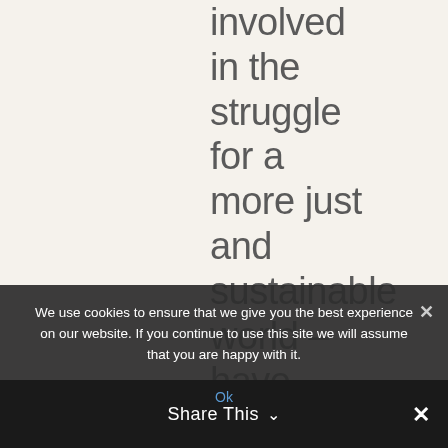involved
in the
struggle
for a
more just
and
sustainable
world –
have
open
minds –
and build
our
capacity
We use cookies to ensure that we give you the best experience on our website. If you continue to use this site we will assume that you are happy with it.
Ok   Share This ∨  ✕